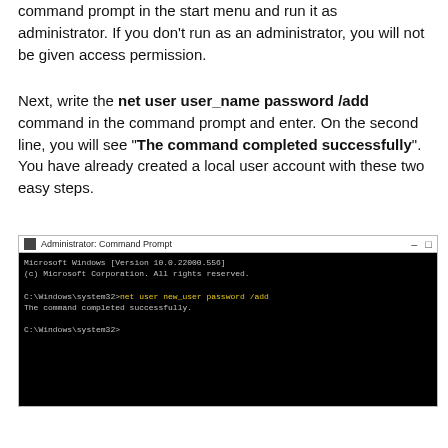command prompt in the start menu and run it as administrator. If you don't run as an administrator, you will not be given access permission.
Next, write the net user user_name password /add command in the command prompt and enter. On the second line, you will see "The command completed successfully". You have already created a local user account with these two easy steps.
[Figure (screenshot): Windows Command Prompt screenshot showing Administrator: Command Prompt window. It displays: Microsoft Windows [Version 10.0.22000.556] (c) Microsoft Corporation. All rights reserved. C:\Windows\system32>net user new_user password /add (in yellow). The command completed successfully. C:\Windows\system32>]